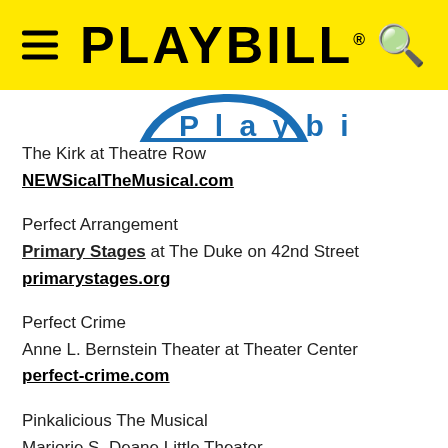PLAYBILL
[Figure (logo): Partial Playbill logo / website logo in blue, partially cropped at top]
The Kirk at Theatre Row
NEWSicalTheMusical.com
Perfect Arrangement
Primary Stages at The Duke on 42nd Street
primarystages.org
Perfect Crime
Anne L. Bernstein Theater at Theater Center
perfect-crime.com
Pinkalicious The Musical
Marjorie S. Deane Little Theater
vitaltheatre.org